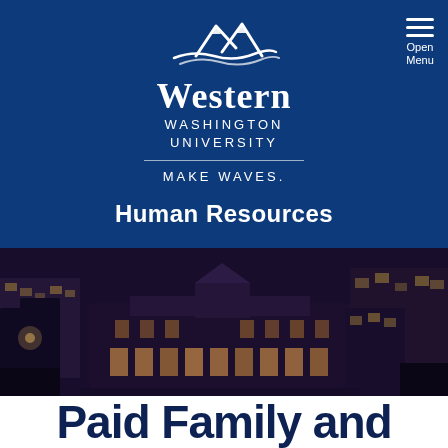[Figure (logo): Western Washington University logo with mountain wave icon, university name, and MAKE WAVES. tagline on blue background, with hamburger menu icon and Open Menu text in top right]
Human Resources
[Figure (photo): Aerial nighttime photo of Western Washington University campus buildings with warm interior lights glowing]
Paid Family and